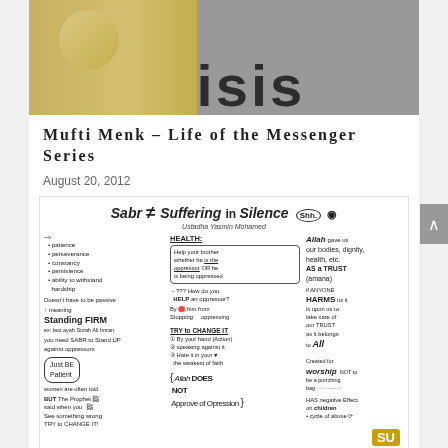[Figure (photo): Top portion of page showing a person at a microphone with 'ISIS' or 'OASIS' text visible in background]
Mufti Menk – Life of the Messenger Series
August 20, 2012
[Figure (illustration): Sketchnote illustration titled 'Sabr ≠ Suffering in Silence' by Ustadha Yasmin Mohamed. Contains handwritten notes about: patience, perseverance, constancy, persistence, ability to withstand hardship; doesn't have to be passive; meaning Standing FIRM; you need SABR to Stand UP against oppressors; Just BE Patient (women are often told); BUT The Prophet said when you see something wrong TRY to CHANGE IT!; HEALTH: Help your brother whether he is the oppressor OR he is being oppressed; ??? How do you HELP an oppressor? By stopping him from oppressing; TRY to CHANGE IT: 1 By your hand (Action) 2 Speaking against it 3 Hate it in your heart - the weakest of faith; Allah DOES NOT Approve of Oppression; Allah gave us our bodies, dignity, health, etc. AS A TRUST (amana); If ANYONE HARMS us it is upon us to take care of our TRUST as it belongs to Allah; Created for worship NOT to be a punching bag; HAS negative effect on children; cycle of abuse; DON'T minimize emotional/mental abuse Stars are deeper; SU logo bottom right]